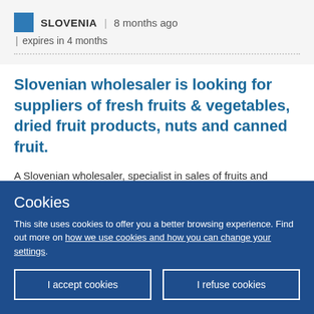SLOVENIA | 8 months ago | expires in 4 months
Slovenian wholesaler is looking for suppliers of fresh fruits & vegetables, dried fruit products, nuts and canned fruit.
A Slovenian wholesaler, specialist in sales of fruits and vegetables is upgrading its sales program by introducing new and additional products. Theref...
Cookies
This site uses cookies to offer you a better browsing experience. Find out more on how we use cookies and how you can change your settings.
I accept cookies
I refuse cookies